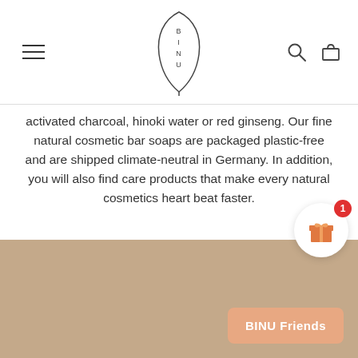BINU logo with hamburger menu and navigation icons
activated charcoal, hinoki water or red ginseng. Our fine natural cosmetic bar soaps are packaged plastic-free and are shipped climate-neutral in Germany. In addition, you will also find care products that make every natural cosmetics heart beat faster.
[Figure (photo): Tan/beige colored product image section at the bottom of the page with BINU Friends button overlay and a gift reward bubble icon with badge showing '1']